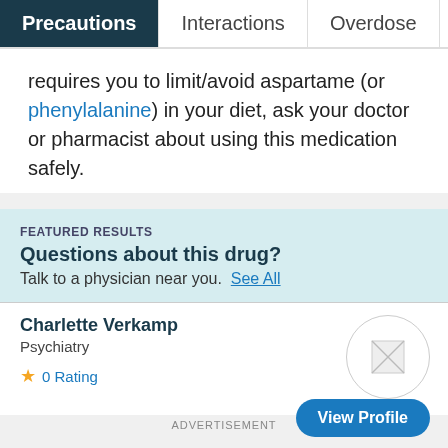Precautions | Interactions | Overdose | Imag
requires you to limit/avoid aspartame (or phenylalanine) in your diet, ask your doctor or pharmacist about using this medication safely.
FEATURED RESULTS
Questions about this drug?
Talk to a physician near you. See All
Charlette Verkamp
Psychiatry
0 Rating
View Profile
ADVERTISEMENT